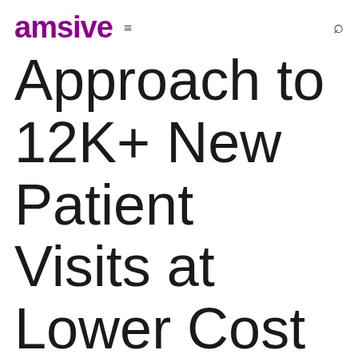amsive ≡ 🔍
Approach to 12K+ New Patient Visits at Lower Cost and Higher ROI